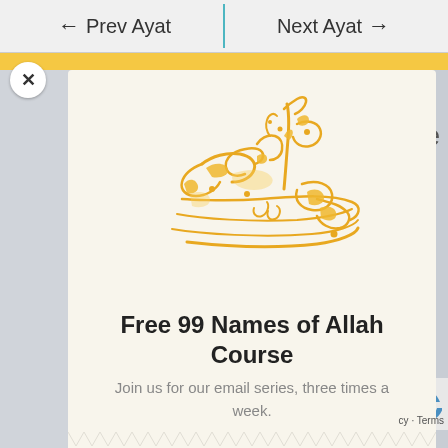← Prev Ayat   Next Ayat →
[Figure (illustration): Arabic calligraphy in golden/yellow color showing 'Al-Rahman' (الرحمن), one of the 99 names of Allah]
Free 99 Names of Allah Course
Join us for our email series, three times a week.